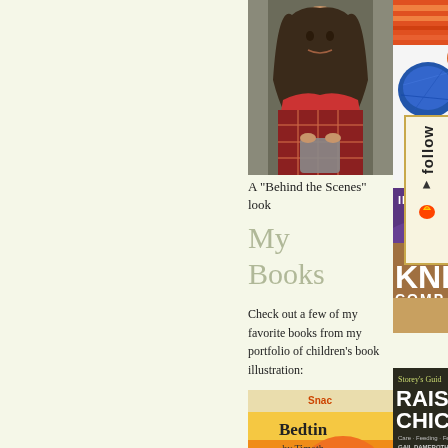[Figure (photo): Photo of a woman with long dark hair, wearing a plaid red shirt and scarf, looking down at something she is holding]
[Figure (photo): Knitting supplies: yarn balls in blue and orange, red and orange striped knit fabric, on white background. Text 'Ann Budd' visible.]
A "Behind the Scenes" look
My Books
Check out a few of my favorite books from my portfolio of children's book illustration:
[Figure (photo): Book cover: 'Snac Bedtin by Timoth' - children's book with orange/yellow background]
[Figure (photo): Book cover: 'INTERMEDIATE KNIT COMPANION expanded' - purple/brown knitting reference book]
[Figure (photo): Book cover: "Storey's Guide RAISING CHICKE" featuring chickens, by GAIL DAMEROTH]